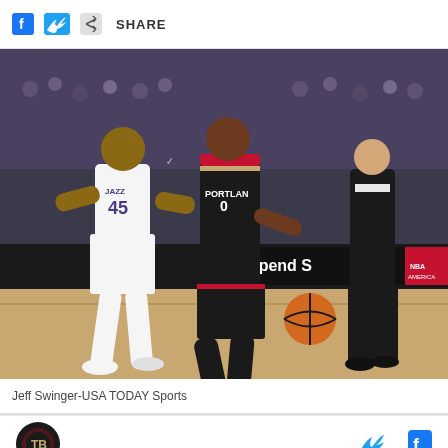SHARE
[Figure (photo): NBA basketball game photo: Portland Trail Blazers player (Damian Lillard, #0) dribbling past Utah Jazz defender (Donovan Mitchell, #45) with a referee visible in the background. Courtside advertisement reads 'Spend Smarter'. Arena crowd in background.]
Jeff Swinger-USA TODAY Sports
[Figure (logo): Circular dark logo at bottom left, appears to be a sports media outlet logo]